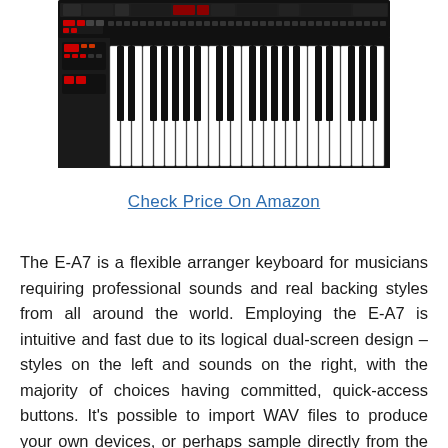[Figure (photo): Photo of a Roland E-A7 arranger keyboard synthesizer, showing the full keyboard with black and white keys, control panel with buttons and dual screens on the left side, red display indicators, all on a black body.]
Check Price On Amazon
The E-A7 is a flexible arranger keyboard for musicians requiring professional sounds and real backing styles from all around the world. Employing the E-A7 is intuitive and fast due to its logical dual-screen design –styles on the left and sounds on the right, with the majority of choices having committed, quick-access buttons. It's possible to import WAV files to produce your own devices, or perhaps sample directly from the keyboard.